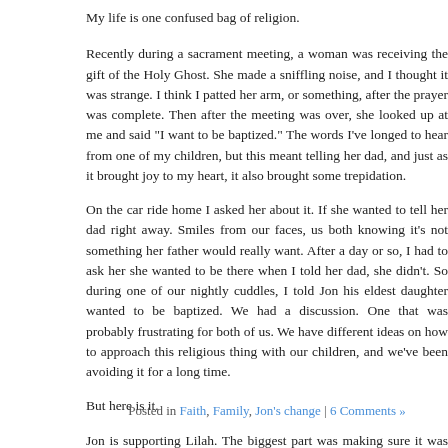My life is one confused bag of religion.
Recently during a sacrament meeting, a woman was receiving the gift of th... made a sniffling noise, and I thought it was strange. I think I patted her arm... after the prayer was complete. Then after the meeting was over, she looked u... want to be baptized." The words I've longed to hear from one of my children,... meant telling her dad, and just as it brought joy to my heart, it also brought so...
On the car ride home I asked her about it. If she wanted to tell her dad right... from our faces, us both knowing it's not something her father would really war... day or so, I had to ask her she wanted to be there when I told her dad, she di... one of our nightly cuddles, I told Jon his eldest daughter wanted to be b... discussion. One that was probably frustrating for both of us. We have differ... approach this religious thing with our children, and we've been avoiding it for a...
But here is it.
Jon is supporting Lilah. The biggest part was making sure it was her decision,... outside pressure, or a desire to belong, or just fit in. From Lilah's response... decision.
Since Lilah is no longer in her eighth year, she will have to take the missiona... we have to go through the baptism as if she is a convert.
I am happy for my daughter. I hope she is happy with her choice too.
Posted in Faith, Family, Jon's change | 6 Comments »